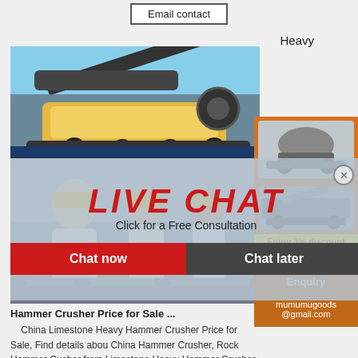Email contact
Heavy
[Figure (photo): Heavy mobile crusher machine on a truck, outdoor industrial setting]
[Figure (photo): Construction workers wearing yellow hard hats, smiling]
[Figure (infographic): Live chat overlay with red LIVE CHAT title, Chat now and Chat later buttons]
[Figure (photo): Right side orange panel with crusher machine images, Enjoy 3% discount, Click to Chat, Enquiry, mumumugoods@gmail.com]
Hammer Crusher Price for Sale ...
China Limestone Heavy Hammer Crusher Price for Sale, Find details about China Hammer Crusher, Rock Hammer Cusher from Limestone Heavy Hammer Crusher Price for Sale - Shanghai Crown